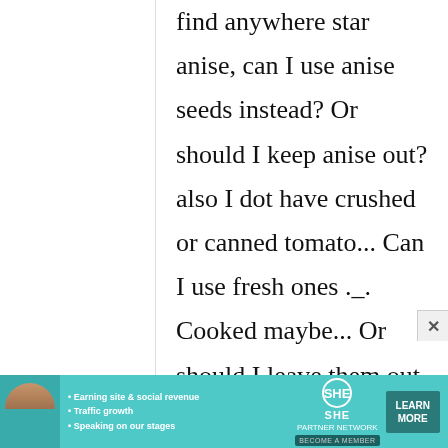find anywhere star anise, can I use anise seeds instead? Or should I keep anise out? also I dot have crushed or canned tomato... Can I use fresh ones ._. Cooked maybe... Or should I leave them out if I don't have canned ones ._. Thank you in
[Figure (infographic): Advertisement banner for SHE Partner Network with a photo of a woman, bullet points about earning site & social revenue, traffic growth, speaking on our stages, SHE logo, and a Learn More button.]